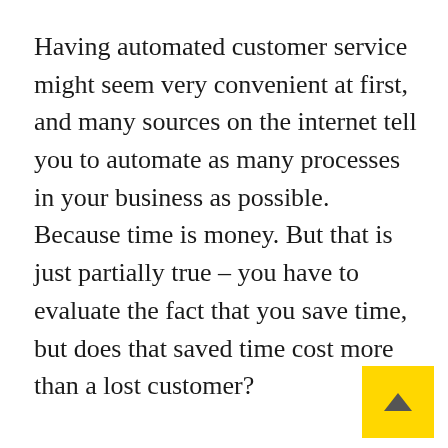Having automated customer service might seem very convenient at first, and many sources on the internet tell you to automate as many processes in your business as possible. Because time is money. But that is just partially true – you have to evaluate the fact that you save time, but does that saved time cost more than a lost customer?
No matter what kind of person your customer is, an introvert or an extrovert, at the end of the day, nobody wants to talk to a machine. It is very disappointing, and it also wastes your customer's time, especially if, after choosing